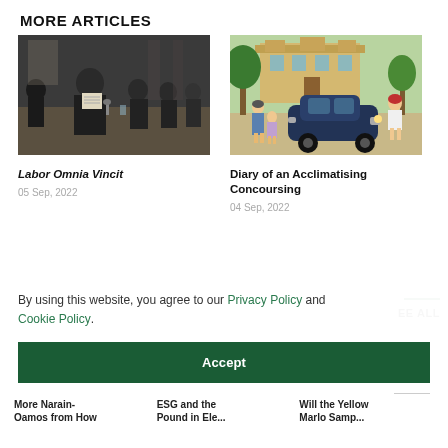MORE ARTICLES
[Figure (photo): Black and white photo of men in suits sitting at a conference table, one prominently holding a document/pamphlet]
Labor Omnia Vincit
05 Sep, 2022
[Figure (illustration): Colorful illustration of animated characters (a woman and child) near a vintage dark blue car, with a mansion in the background]
Diary of an Acclimati... Concoursing
04 Sep, 2022
By using this website, you agree to our Privacy Policy and Cookie Policy.
EE ALL
Accept
More Narain- ... ESG and the Pound in Ele... Will the Yellow Marlo Samp...